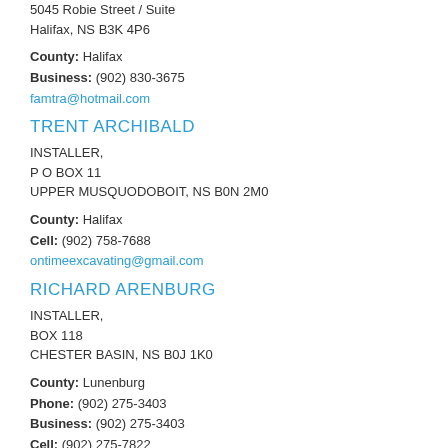5045 Robie Street / Suite
Halifax, NS B3K 4P6
County: Halifax
Business: (902) 830-3675
famtra@hotmail.com
TRENT ARCHIBALD
INSTALLER,
P O BOX 11
UPPER MUSQUODOBOIT, NS B0N 2M0
County: Halifax
Cell: (902) 758-7688
ontimeexcavating@gmail.com
RICHARD ARENBURG
INSTALLER,
BOX 118
CHESTER BASIN, NS B0J 1K0
County: Lunenburg
Phone: (902) 275-3403
Business: (902) 275-3403
Cell: (902) 275-7822